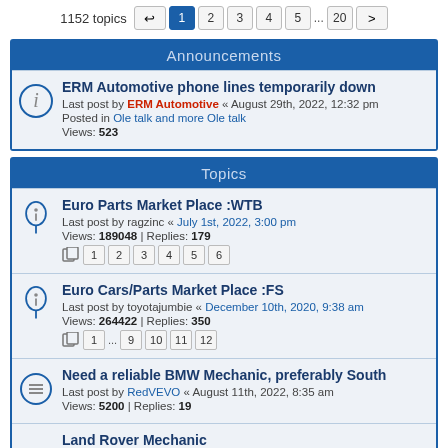1152 topics  1 2 3 4 5 ... 20 >
Announcements
ERM Automotive phone lines temporarily down
Last post by ERM Automotive « August 29th, 2022, 12:32 pm
Posted in Ole talk and more Ole talk
Views: 523
Topics
Euro Parts Market Place :WTB
Last post by ragzinc « July 1st, 2022, 3:00 pm
Views: 189048 | Replies: 179
1 2 3 4 5 6
Euro Cars/Parts Market Place :FS
Last post by toyotajumbie « December 10th, 2020, 9:38 am
Views: 264422 | Replies: 350
1 ... 9 10 11 12
Need a reliable BMW Mechanic, preferably South
Last post by RedVEVO « August 11th, 2022, 8:35 am
Views: 5200 | Replies: 19
Land Rover Mechanic